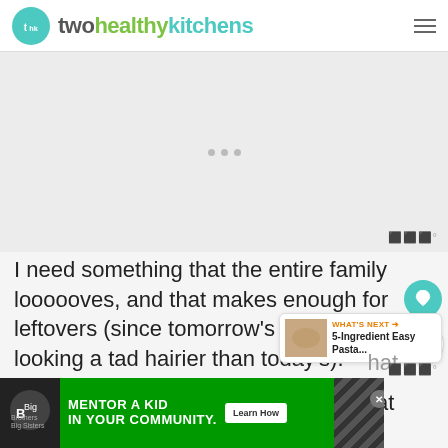twohealthykitchens
[Figure (other): Advertisement placeholder area with three dots and Mediavine watermark]
I need something that the entire family loooooves, and that makes enough for leftovers (since tomorrow's schedule is looking a tad hairier than today's).
I need … I need … I need a dinner that
[Figure (other): Big Brothers Big Sisters advertisement banner: MENTOR A KID IN YOUR COMMUNITY. Learn How]
hat
WHAT'S NEXT → 5-Ingredient Easy Pasta...